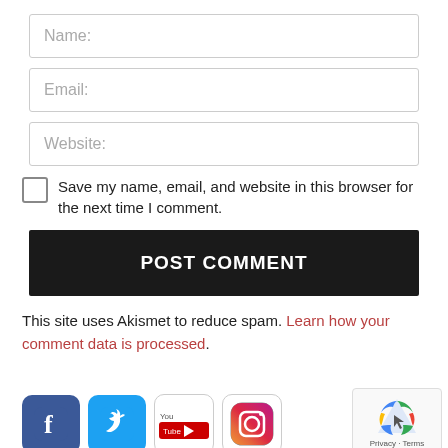Name:
Email:
Website:
Save my name, email, and website in this browser for the next time I comment.
POST COMMENT
This site uses Akismet to reduce spam. Learn how your comment data is processed.
[Figure (screenshot): Social media icons: Facebook, Twitter, YouTube, Instagram]
[Figure (logo): reCAPTCHA badge with Privacy and Terms links]